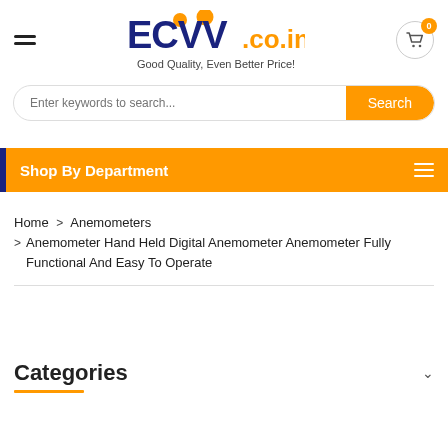[Figure (logo): ECVV.co.in logo with orange dots and tagline 'Good Quality, Even Better Price!']
Enter keywords to search...
Shop By Department
Home > Anemometers > Anemometer Hand Held Digital Anemometer Anemometer Fully Functional And Easy To Operate
Categories